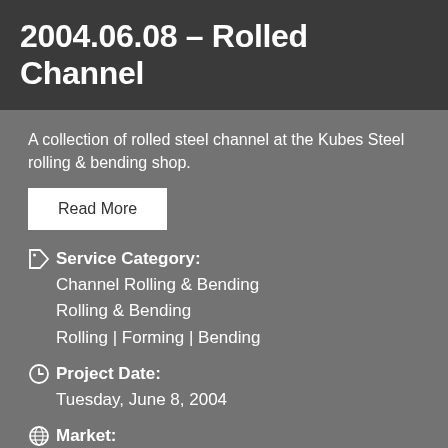2004.06.08 – Rolled Channel
A collection of rolled steel channel at the Kubes Steel rolling & bending shop.
Read More
Service Category:
Channel Rolling & Bending
Rolling & Bending
Rolling | Forming | Bending
Project Date:
Tuesday, June 8, 2004
Market:
Structural
Material:
Steel